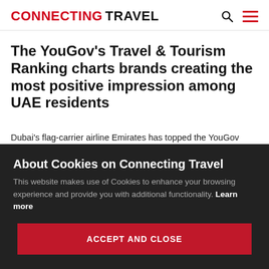CONNECTING TRAVEL
The YouGov’s Travel & Tourism Ranking charts brands creating the most positive impression among UAE residents
Dubai’s flag-carrier airline Emirates has topped the YouGov Travel & Tourism Ranking in the UAE, receiving the highest ‘impression score’ of +63.3 among the UAE residents.
About Cookies on Connecting Travel
This website makes use of Cookies to enhance your browsing experience and provide you with additional functionality. Learn more
ACCEPT AND CLOSE